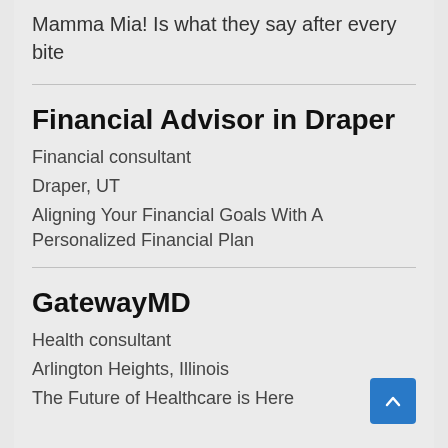Mamma Mia! Is what they say after every bite
Financial Advisor in Draper
Financial consultant
Draper, UT
Aligning Your Financial Goals With A Personalized Financial Plan
GatewayMD
Health consultant
Arlington Heights, Illinois
The Future of Healthcare is Here